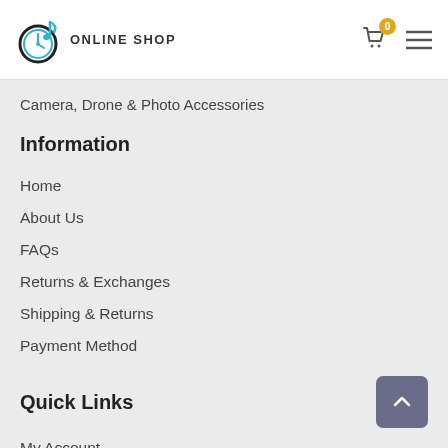ONLINE SHOP
Camera, Drone & Photo Accessories
Information
Home
About Us
FAQs
Returns & Exchanges
Shipping & Returns
Payment Method
Quick Links
My Account